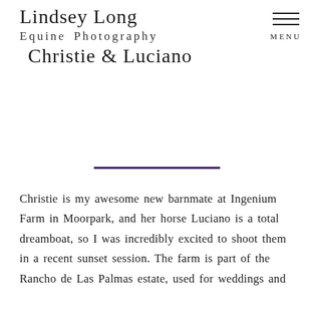Lindsey Long Equine Photography — Christie & Luciano
Christie & Luciano
Christie is my awesome new barnmate at Ingenium Farm in Moorpark, and her horse Luciano is a total dreamboat, so I was incredibly excited to shoot them in a recent sunset session. The farm is part of the Rancho de Las Palmas estate, used for weddings and